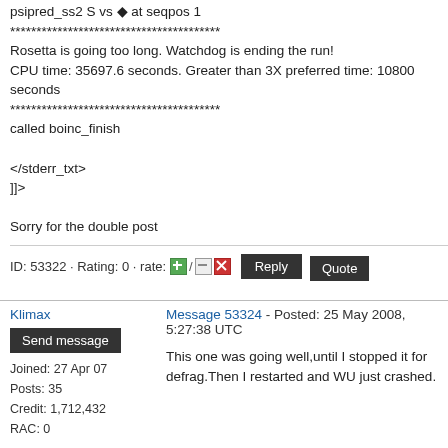psipred_ss2 S vs ◆ at seqpos 1
****************************************
Rosetta is going too long. Watchdog is ending the run!
CPU time: 35697.6 seconds. Greater than 3X preferred time: 10800 seconds
****************************************
called boinc_finish

</stderr_txt>
]]>

Sorry for the double post
ID: 53322 · Rating: 0 · rate: [+] / [-][x]
Klimax
Send message
Joined: 27 Apr 07
Posts: 35
Credit: 1,712,432
RAC: 0
Message 53324 - Posted: 25 May 2008, 5:27:38 UTC
This one was going well,until I stopped it for defrag.Then I restarted and WU just crashed.